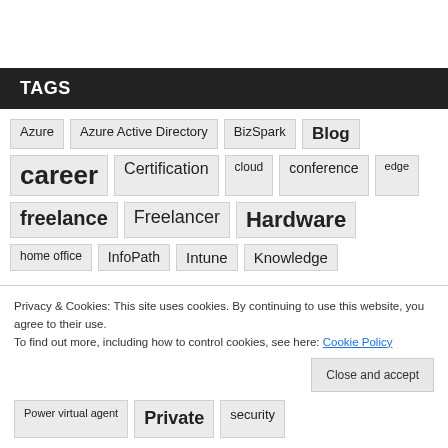TAGS
Azure
Azure Active Directory
BizSpark
Blog
career
Certification
cloud
conference
edge
freelance
Freelancer
Hardware
home office
InfoPath
Intune
Knowledge
Privacy & Cookies: This site uses cookies. By continuing to use this website, you agree to their use.
To find out more, including how to control cookies, see here: Cookie Policy
Power virtual agent
Private
security